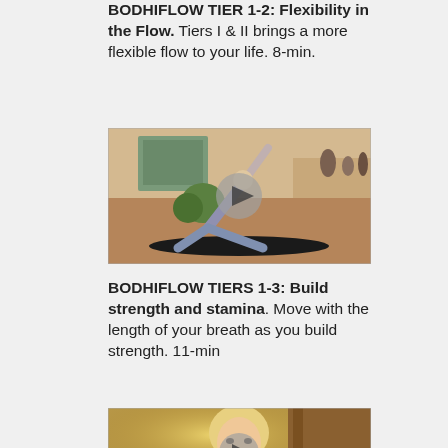BODHIFLOW TIER 1-2: Flexibility in the Flow. Tiers I & II brings a more flexible flow to your life. 8-min.
[Figure (photo): Video thumbnail showing a person in a yoga triangle pose on a black mat in a warmly lit room, with a play button overlay.]
BODHIFLOW TIERS 1-3: Build strength and stamina. Move with the length of your breath as you build strength. 11-min
[Figure (photo): Video thumbnail showing a person facing the camera in a warmly lit room, with a play button overlay.]